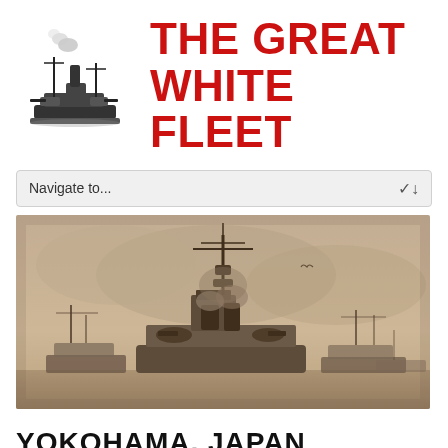[Figure (logo): Black and white illustration of a naval battleship with smoke coming from its stack]
THE GREAT WHITE FLEET
Navigate to...
[Figure (photo): Sepia-toned historical photograph of naval warships at sea, showing masts and superstructure of battleships with smoke in the background]
YOKOHAMA, JAPAN